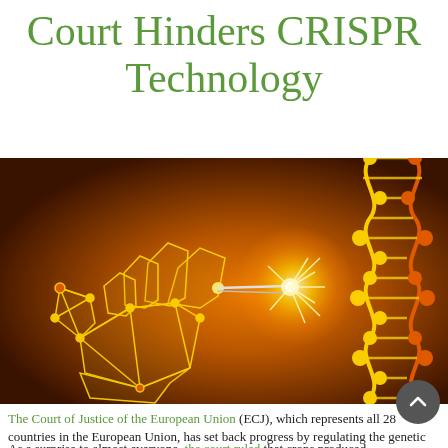Court Hinders CRISPR Technology
[Figure (photo): A wireframe geometric hand reaching toward a glowing light point near a golden DNA double helix strand, on a dark amber/brown background — illustrating CRISPR gene editing technology.]
The Court of Justice of the European Union (ECJ), which represents all 28 countries in the European Union, has set back progress by regulating the genetic engineering technique, CRISPR, to such an extent that it will stifle growth in agricultural innovation.
As a surprise to almost everyone, the court ruled that crops produced